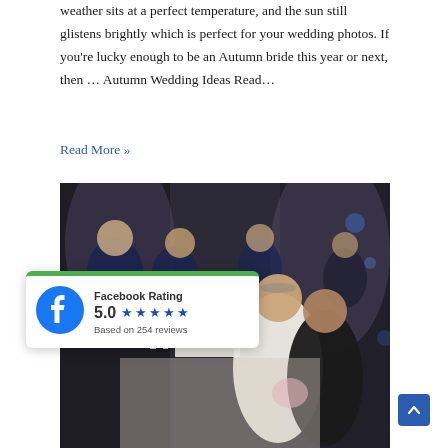weather sits at a perfect temperature, and the sun still glistens brightly which is perfect for your wedding photos. If you're lucky enough to be an Autumn bride this year or next, then … Autumn Wedding Ideas Read…
Read More »
[Figure (photo): Wedding reception photo showing a bride and groom cutting the cake, with bridesmaids in the background in a decorated venue.]
Facebook Rating
5.0 ★★★★★
Based on 254 reviews